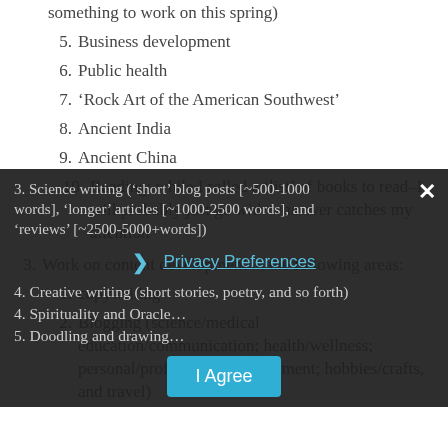something to work on this spring)
5. Business development
6. Public health
7. ‘Rock Art of the American Southwest’
8. Ancient India
9. Ancient China
10. Reading; while I rolled a ‘list’ of books to read–I will probably just go with whatever catches my attention
3. Work on content development in the following areas:
1. copywriting
2. Blogging (science/medical education/communication; health/wellness; personal/professional development; hobbies/crafts, and travel)
3. Science writing (‘short’ blog posts [≈500-1000 words], ‘longer’ articles [∼1000-2500 words], and ‘reviews’ [∼2500-5000+words])
4. Creative writing (short stories, poetry, and so forth)
4. Spirituality and Oracle…
5. Doodling and drawing…
Privacy Preferences overlay with I Agree button